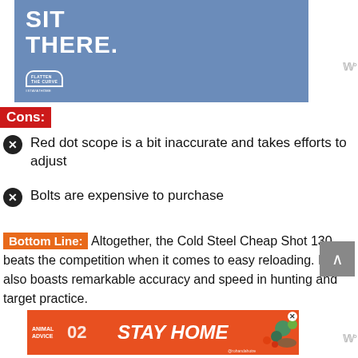[Figure (photo): Blue advertisement banner with white bold text 'SIT THERE.' and Flatten the Curve logo]
Cons:
Red dot scope is a bit inaccurate and takes efforts to adjust
Bolts are expensive to purchase
Bottom Line: Altogether, the Cold Steel Cheap Shot 130 beats the competition when it comes to easy reloading. It also boasts remarkable accuracy and speed in hunting and target practice.
[Figure (photo): Orange advertisement banner with text STAY HOME, Animal Advice 02, @rohandahotre]